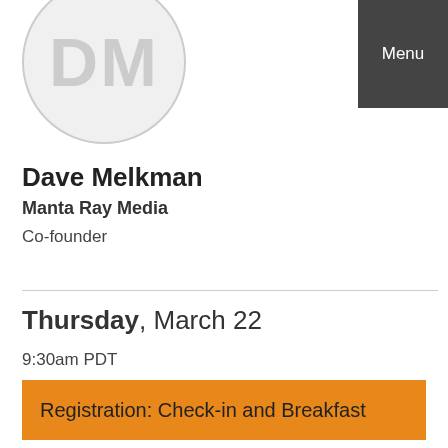[Figure (illustration): Circular avatar with initials DM in light gray on a light gray circle background]
Menu
Dave Melkman
Manta Ray Media
Co-founder
Thursday, March 22
9:30am PDT
Registration: Check-in and Breakfast